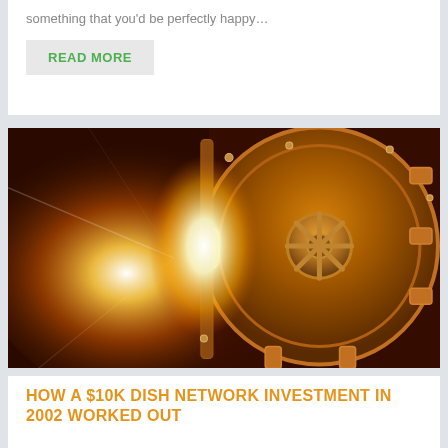something that you'd be perfectly happy…
READ MORE
[Figure (photo): A large golden bank vault door ajar, emitting bright white light from inside, set against a dark reddish-brown background with lens flare effects.]
HOW A $10K DISH NETWORK INVESTMENT IN 2002 WORKED OUT